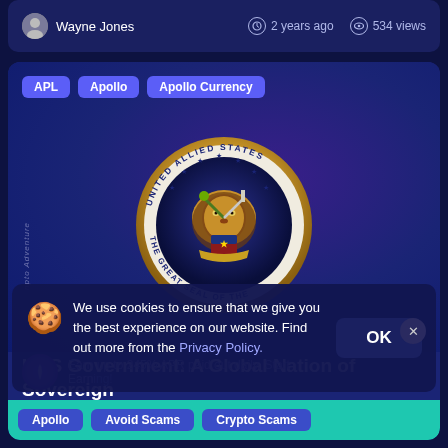Wayne Jones  •  2 years ago  •  534 views
APL  Apollo  Apollo Currency
[Figure (illustration): Circular coin or seal with a lion at the center, surrounded by text reading UNITED ALLIED STATES and THE GREAT SEAL OF THE, with stars and decorative elements, gold border, on a dark blue background with purple glow]
UAS Government: A Global Nation of Sovereign States
We use cookies to ensure that we give you the best experience on our website. Find out more from the Privacy Policy.
Earn up to 245% APR paid out daily. Start Earning!
Apollo  Avoid Scams  Crypto Scams